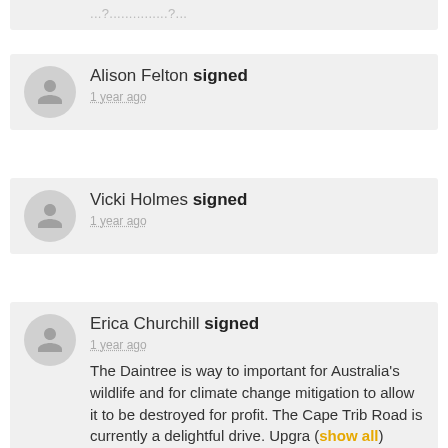...?...............?....
Alison Felton signed
1 year ago
Vicki Holmes signed
1 year ago
Erica Churchill signed
1 year ago
The Daintree is way to important for Australia's wildlife and for climate change mitigation to allow it to be destroyed for profit. The Cape Trib Road is currently a delightful drive. Upgra (show all)